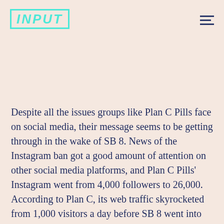INPUT
Despite all the issues groups like Plan C Pills face on social media, their message seems to be getting through in the wake of SB 8. News of the Instagram ban got a good amount of attention on other social media platforms, and Plan C Pills' Instagram went from 4,000 followers to 26,000. According to Plan C, its web traffic skyrocketed from 1,000 visitors a day before SB 8 went into effect to over 30,000 in the days that followed. (A supportive tweet from Rep. Alexandria Ocasio-Cortez certainly helped.)